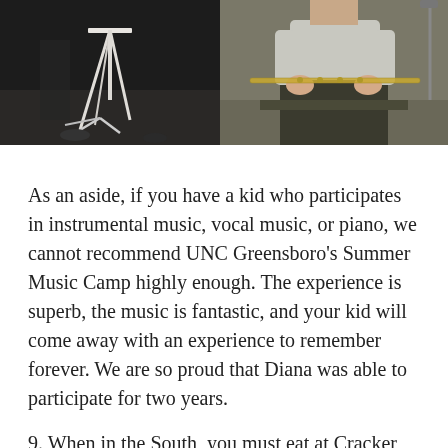[Figure (photo): Two photos side by side: left shows a music stand/instrument setup on a dark stage; right shows a person seated holding a flute, wearing dark pants and light shirt.]
As an aside, if you have a kid who participates in instrumental music, vocal music, or piano, we cannot recommend UNC Greensboro's Summer Music Camp highly enough. The experience is superb, the music is fantastic, and your kid will come away with an experience to remember forever. We are so proud that Diana was able to participate for two years.
9. When in the South, you must eat at Cracker Barrel. The Old Country Store is full of entertaining things:
[justified_image_grid